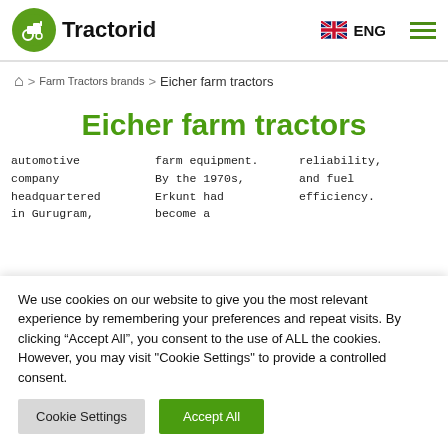Tractorid | ENG
Home > Farm Tractors brands > Eicher farm tractors
Eicher farm tractors
automotive company headquartered in Gurugram,
farm equipment. By the 1970s, Erkunt had become a
reliability, and fuel efficiency.
We use cookies on our website to give you the most relevant experience by remembering your preferences and repeat visits. By clicking “Accept All”, you consent to the use of ALL the cookies. However, you may visit "Cookie Settings" to provide a controlled consent.